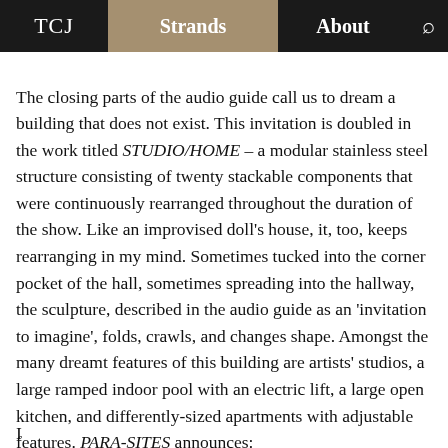TCJ | Strands | About
The closing parts of the audio guide call us to dream a building that does not exist. This invitation is doubled in the work titled STUDIO/HOME – a modular stainless steel structure consisting of twenty stackable components that were continuously rearranged throughout the duration of the show. Like an improvised doll's house, it, too, keeps rearranging in my mind. Sometimes tucked into the corner pocket of the hall, sometimes spreading into the hallway, the sculpture, described in the audio guide as an 'invitation to imagine', folds, crawls, and changes shape. Amongst the many dreamt features of this building are artists' studios, a large ramped indoor pool with an electric lift, a large open kitchen, and differently-sized apartments with adjustable features. PARA-SITES announces: